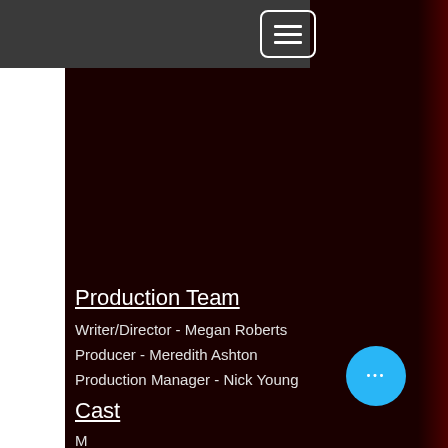[Figure (screenshot): Hamburger/menu icon button with three horizontal white bars inside a white-bordered rounded rectangle, on a dark gray navigation bar background]
Production Team
Writer/Director - Megan Roberts
Producer - Meredith Ashton
Production Manager - Nick Young
Cast
M...
[Figure (other): Cyan floating action button with three white dots (ellipsis/more options)]